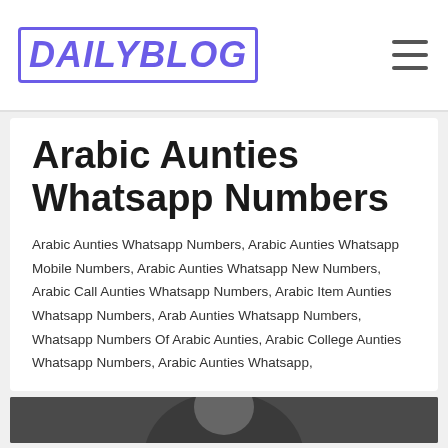DailyBlog
Arabic Aunties Whatsapp Numbers
Arabic Aunties Whatsapp Numbers, Arabic Aunties Whatsapp Mobile Numbers, Arabic Aunties Whatsapp New Numbers, Arabic Call Aunties Whatsapp Numbers, Arabic Item Aunties Whatsapp Numbers, Arab Aunties Whatsapp Numbers, Whatsapp Numbers Of Arabic Aunties, Arabic College Aunties Whatsapp Numbers, Arabic Aunties Whatsapp,
[Figure (photo): Partial view of a person's face/portrait photo in grayscale at the bottom of the page]